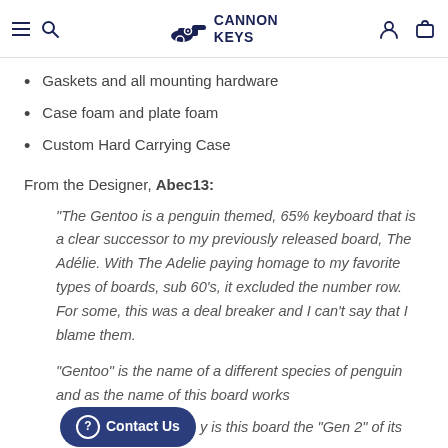CANNON KEYS
Gaskets and all mounting hardware
Case foam and plate foam
Custom Hard Carrying Case
From the Designer, Abec13:
"The Gentoo is a penguin themed, 65% keyboard that is a clear successor to my previously released board, The Adélie. With The Adelie paying homage to my favorite types of boards, sub 60's, it excluded the number row. For some, this was a deal breaker and I can't say that I blame them.
"Gentoo" is the name of a different species of penguin and as the name of this board works  [Contact Us]  y is this board the "Gen 2" of its predecessor, the Gentoo penguin, as you can see here, is a slightly larger